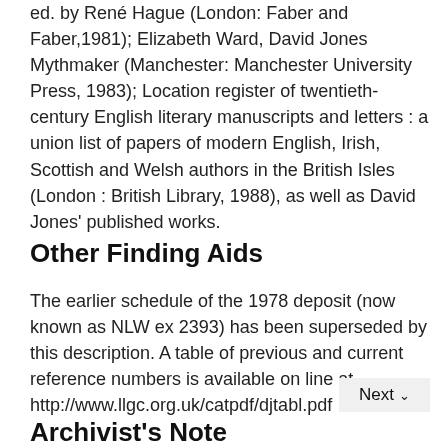ed. by René Hague (London: Faber and Faber,1981); Elizabeth Ward, David Jones Mythmaker (Manchester: Manchester University Press, 1983); Location register of twentieth-century English literary manuscripts and letters : a union list of papers of modern English, Irish, Scottish and Welsh authors in the British Isles (London : British Library, 1988), as well as David Jones' published works.
Other Finding Aids
The earlier schedule of the 1978 deposit (now known as NLW ex 2393) has been superseded by this description. A table of previous and current reference numbers is available on line at http://www.llgc.org.uk/catpdf/djtabl.pdf
Archivist's Note